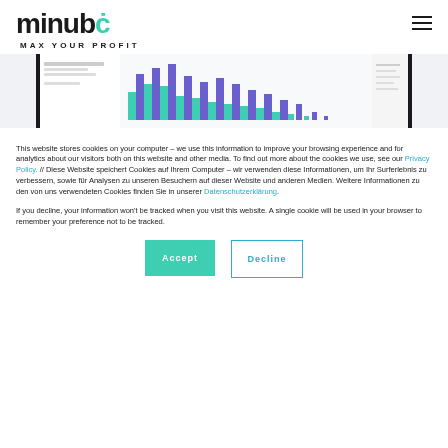[Figure (logo): minubo logo with teal accent dot and tagline MAX YOUR PROFIT]
[Figure (screenshot): Partial screenshot of a bar chart with green and purple/blue bars on a light grey background]
This website stores cookies on your computer – we use this information to improve your browsing experience and for analytics about our visitors both on this website and other media. To find out more about the cookies we use, see our Privacy Policy. // Diese Website speichert Cookies auf Ihrem Computer – wir verwenden diese Informationen, um Ihr Surferlebnis zu verbessern, sowie für Analysen zu unseren Besuchern auf dieser Website und anderen Medien. Weitere Informationen zu den von uns verwendeten Cookies finden Sie in unserer Datenschutzerklärung.
If you decline, your information won't be tracked when you visit this website. A single cookie will be used in your browser to remember your preference not to be tracked.